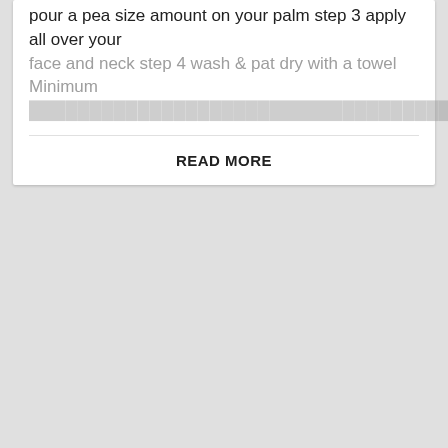pour a pea size amount on your palm step 3 apply all over your face and neck step 4 wash & pat dry with a towel Minimum ...
READ MORE